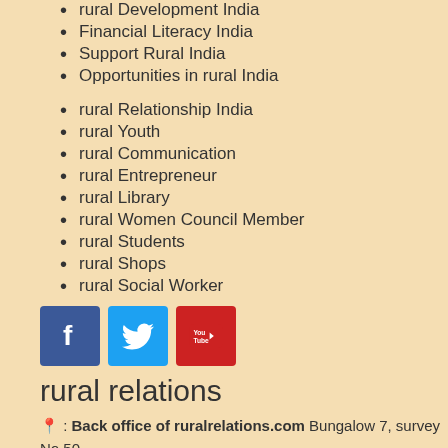rural Development India
Financial Literacy India
Support Rural India
Opportunities in rural India
rural Relationship India
rural Youth
rural Communication
rural Entrepreneur
rural Library
rural Women Council Member
rural Students
rural Shops
rural Social Worker
[Figure (logo): Social media icons: Facebook (blue), Twitter (light blue), YouTube (red)]
rural relations
: Back office of ruralrelations.com Bungalow 7, survey No.50, Nanaibaug, Ghorpadi Gaon, Pune - 36
/ : +91 97655 50069
: rural@ruralrelations.com